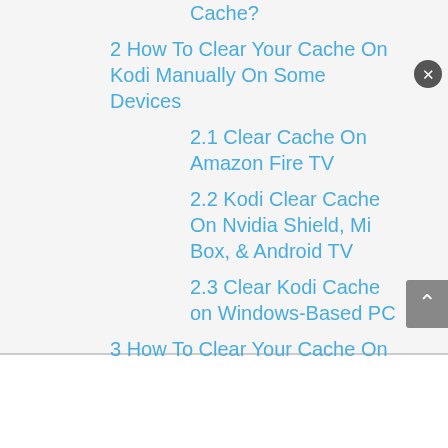Cache?
2 How To Clear Your Cache On Kodi Manually On Some Devices
2.1 Clear Cache On Amazon Fire TV
2.2 Kodi Clear Cache On Nvidia Shield, Mi Box, & Android TV
2.3 Clear Kodi Cache on Windows-Based PC
3 How To Clear Your Cache On Kodi Cache Using Third-Party Program Addons
3.1 (partial, cut off)